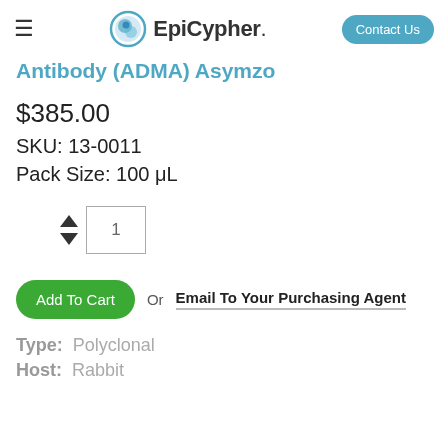≡  EpiCypher.  Contact Us
Antibody (ADMA) Asymzo
$385.00
SKU: 13-0011
Pack Size: 100 μL
Add To Cart  Or  Email To Your Purchasing Agent
Type:  Polyclonal
Host:  Rabbit